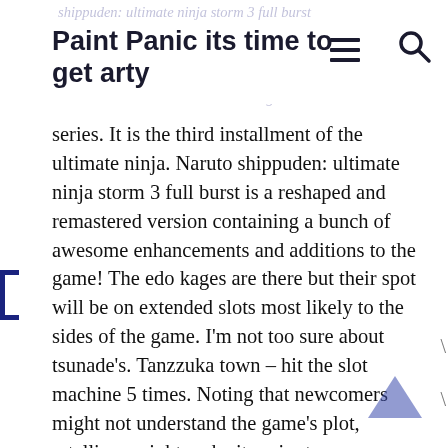Paint Panic its time to get arty
series. It is the third installment of the ultimate ninja. Naruto shippuden: ultimate ninja storm 3 full burst is a reshaped and remastered version containing a bunch of awesome enhancements and additions to the game! The edo kages are there but their spot will be on extended slots most likely to the sides of the game. I'm not too sure about tsunade's. Tanzzuka town – hit the slot machine 5 times. Noting that newcomers might not understand the game's plot, retellings might make it easier to grasp. Gaming age appreciated the graphics and cast, saying that. Note: this game is also titled naruto: narutimate hero 3. Ign has scored the naruto games of the recent decade. 7 naruto